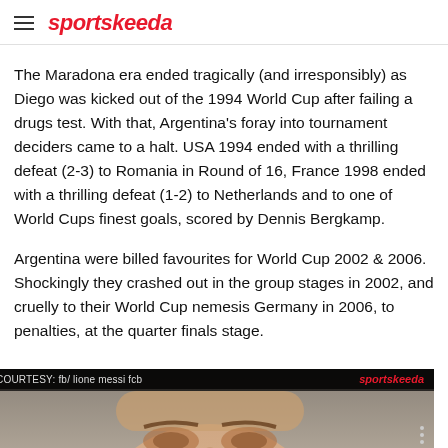sportskeeda
The Maradona era ended tragically (and irresponsibly) as Diego was kicked out of the 1994 World Cup after failing a drugs test. With that, Argentina's foray into tournament deciders came to a halt. USA 1994 ended with a thrilling defeat (2-3) to Romania in Round of 16, France 1998 ended with a thrilling defeat (1-2) to Netherlands and to one of World Cups finest goals, scored by Dennis Bergkamp.
Argentina were billed favourites for World Cup 2002 & 2006. Shockingly they crashed out in the group stages in 2002, and cruelly to their World Cup nemesis Germany in 2006, to penalties, at the quarter finals stage.
[Figure (photo): Close-up photo of a person's face (eyes and forehead visible), dark background with image overlay bar showing COURTESY: fb/ lione messi fcb on the left and sportskeeda logo on the right.]